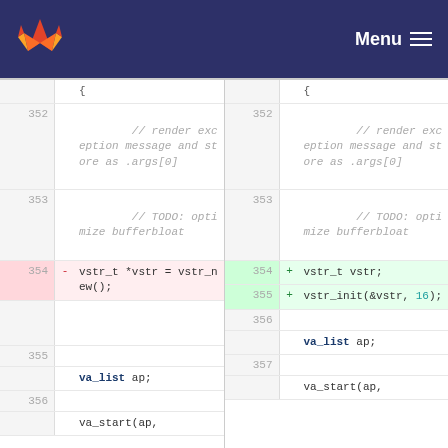GitLab — Menu
[Figure (screenshot): Code diff view showing two panes side by side. Left pane (old) and right pane (new) display lines 352-356 of C code. Line 354 removed: 'vstr_t *vstr = vstr_new();', replaced in new with 'vstr_t vstr;' (line 354) and 'vstr_init(&vstr, 16);' (line 355). Lines 352-353 show commented code about rendering exception messages. Lines 355/356 show 'va_list ap;' and 'va_start(ap,'.]